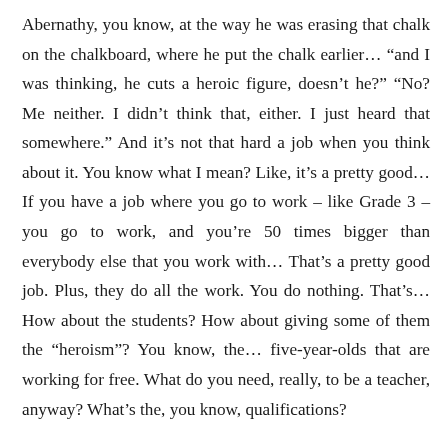Abernathy, you know, at the way he was erasing that chalk on the chalkboard, where he put the chalk earlier… “and I was thinking, he cuts a heroic figure, doesn’t he?” “No? Me neither. I didn’t think that, either. I just heard that somewhere.” And it’s not that hard a job when you think about it. You know what I mean? Like, it’s a pretty good… If you have a job where you go to work – like Grade 3 – you go to work, and you’re 50 times bigger than everybody else that you work with… That’s a pretty good job. Plus, they do all the work. You do nothing. That’s… How about the students? How about giving some of them the “heroism”? You know, the… five-year-olds that are working for free. What do you need, really, to be a teacher, anyway? What’s the, you know, qualifications?